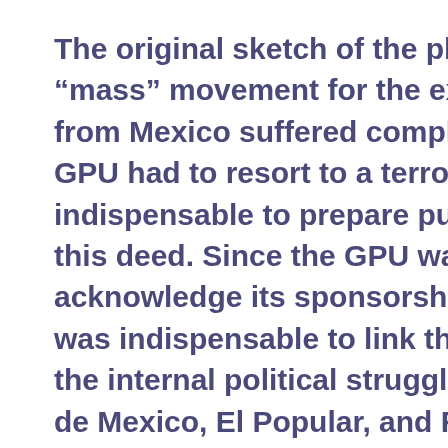The original sketch of the plan to develop a “mass” movement for the expulsion of Trotsky from Mexico suffered complete failure. The GPU had to resort to a terrorist act. But it was indispensable to prepare public opinion for this deed. Since the GPU was not prepared to acknowledge its sponsorship of the murder, it was indispensable to link the terrorist act with the internal political struggle in Mexico. La Voz de Mexico, El Popular, and Futuro had even earlier attempted to link me up with General Cedillo, with General Amaro, with Vasconcelos, with one Dr. Ati, not to mention the oil magnates and the Dies Committee. They now received orders to multiply their efforts in this direction. The presidential campaign with its prospect of sharp conflicts appeared to provide the most favourable situation for such efforts. The intellectual accomplices of the attempt enrolled me in the camp of General Almazan, which did not restrain them from ascribing later on the organization of the